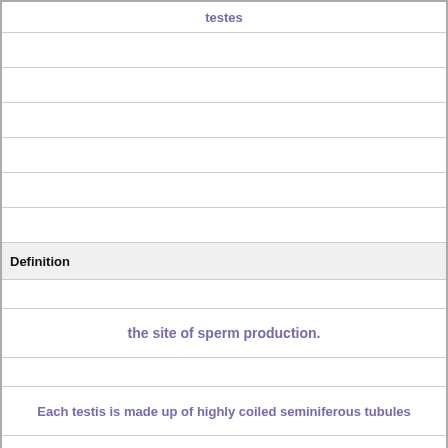| testes |
|  |
|  |
|  |
|  |
|  |
|  |
| Definition |
|  |
| the site of sperm production. |
|  |
| Each testis is made up of highly coiled seminiferous tubules |
|  |
|  |
|  |
|  |
| Term |